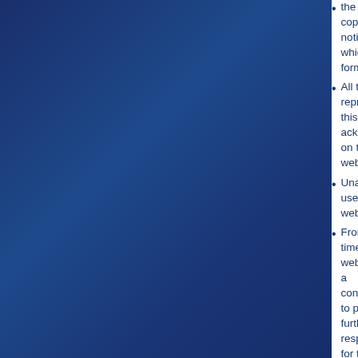the copyright notice, which forms pa…
All trademarks reproduced in this we… acknowledged on the website.
Unauthorized use of this website ma…
From time to time this website may a… convenience to provide further infor… responsibility for the content of the li…
You may not create a link to this web… consent.
Prohibited Uses
Prohibited uses of this website shall include:
Copying/Duplicating any content or…
Unauthorized distribution or sharing…
Attempting to impersonate any pers…
Any activity which adversely affects…
Using the email system to send uns…
Utilizing user contact information for…
Passwords
You may be assigned an account and pass… for maintaining the confidentiality of the pas… under your password or account. You agree… password or account or any other breach of…